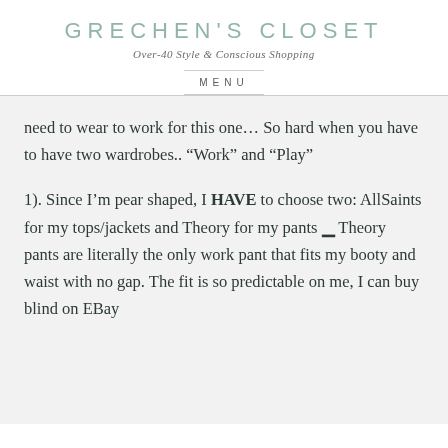GRECHEN'S CLOSET
Over-40 Style & Conscious Shopping
MENU
need to wear to work for this one… So hard when you have to have two wardrobes.. “Work” and “Play”
1). Since I’m pear shaped, I HAVE to choose two: AllSaints for my tops/jackets and Theory for my pants □ Theory pants are literally the only work pant that fits my booty and waist with no gap. The fit is so predictable on me, I can buy blind on EBay